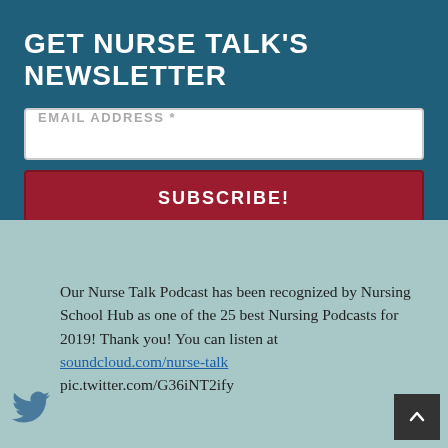GET NURSE TALK'S NEWSLETTER
EMAIL ADDRESS *
SUBSCRIBE!
Our Nurse Talk Podcast has been recognized by Nursing School Hub as one of the 25 best Nursing Podcasts for 2019! Thank you! You can listen at soundcloud.com/nurse-talk pic.twitter.com/G36iNT2ify